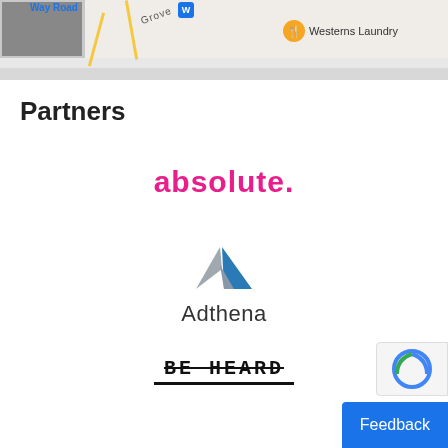[Figure (map): Google Maps strip showing street map with road labels 'Way Road' and 'Grove', a blue location badge, and a restaurant marker labeled 'Westerns Laundry' with an orange food icon.]
Partners
[Figure (logo): absolute. logo in bold magenta/pink text]
[Figure (logo): Adthena logo with a triangular geometric icon in blue and gray above the word Adthena]
[Figure (logo): BE HEARD logo in bold uppercase monospace font with strikethrough styling and a thick underline]
[Figure (logo): reCAPTCHA badge partially visible at bottom right]